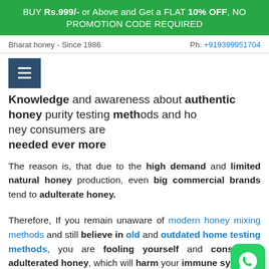BUY Rs.999/- or Above and Get a FLAT 10% OFF, NO PROMOTION CODE REQUIRED
Bharat honey - Since 1986    Ph: +919399951704
[Figure (screenshot): Navigation hamburger menu button (dark blue square with three white horizontal lines)]
Knowledge and awareness about authentic honey purity testing methods and honey consumers are needed ever more
The reason is, that due to the high demand and limited natural honey production, even big commercial brands tend to adulterate honey.
Therefore, If you remain unaware of modern honey mixing methods and still believe in old and outdated home testing methods, you are fooling yourself and consuming adulterated honey, which will harm your immune system.